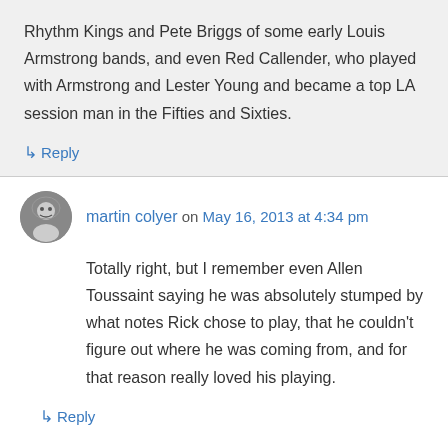Rhythm Kings and Pete Briggs of some early Louis Armstrong bands, and even Red Callender, who played with Armstrong and Lester Young and became a top LA session man in the Fifties and Sixties.
↳ Reply
martin colyer on May 16, 2013 at 4:34 pm
Totally right, but I remember even Allen Toussaint saying he was absolutely stumped by what notes Rick chose to play, that he couldn't figure out where he was coming from, and for that reason really loved his playing.
↳ Reply